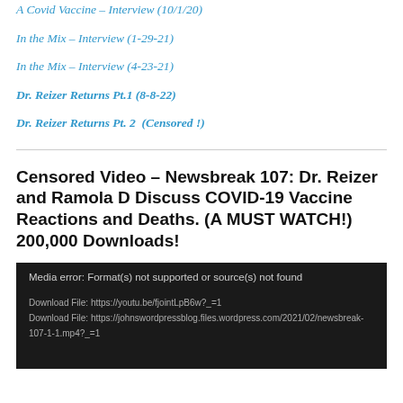A Covid Vaccine – Interview (10/1/20)
In the Mix – Interview (1-29-21)
In the Mix – Interview (4-23-21)
Dr. Reizer Returns Pt.1 (8-8-22)
Dr. Reizer Returns Pt. 2  (Censored !)
Censored Video – Newsbreak 107: Dr. Reizer and Ramola D Discuss COVID-19 Vaccine Reactions and Deaths. (A MUST WATCH!) 200,000 Downloads!
[Figure (screenshot): Media player error screen showing: 'Media error: Format(s) not supported or source(s) not found' with two download file links below on dark background.]